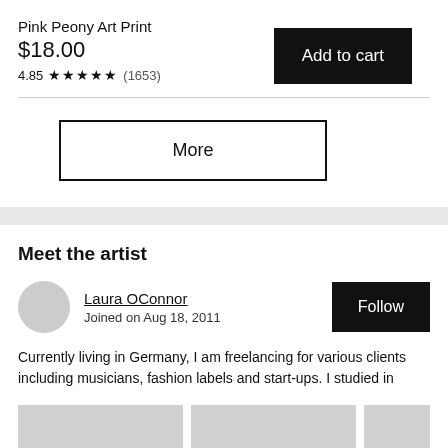Pink Peony Art Print
$18.00
4.85 ★★★★★ (1653)
Add to cart
More
Meet the artist
Laura OConnor
Joined on Aug 18, 2011
Follow
Currently living in Germany, I am freelancing for various clients including musicians, fashion labels and start-ups. I studied in
[Figure (photo): Three gray placeholder thumbnail images at the bottom of the page]
[Figure (photo): Gray circular avatar placeholder]
Add to cart